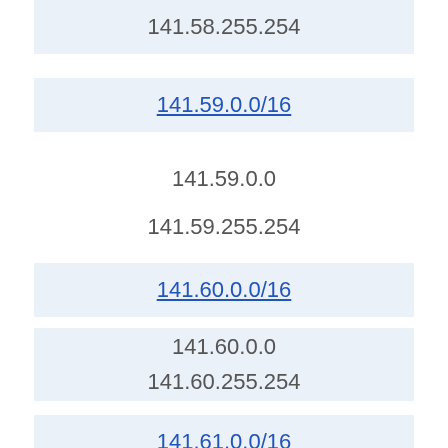141.58.255.254
141.59.0.0/16
141.59.0.0
141.59.255.254
141.60.0.0/16
141.60.0.0
141.60.255.254
141.61.0.0/16
141.61.0.0